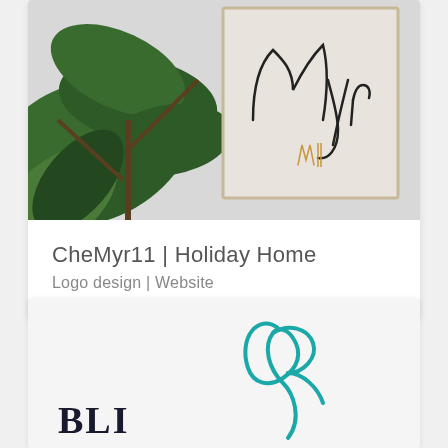[Figure (photo): Holiday home branding photo showing a framed script print with 'Myr' text and gold logo mark, alongside a green tropical plant against a light grey wall]
CheMyr11 | Holiday Home
Logo design | Website
[Figure (logo): Partial view of a second portfolio item showing a teal/turquoise script letter 'R' and partial dark text reading 'BLI...' — another logo design project]